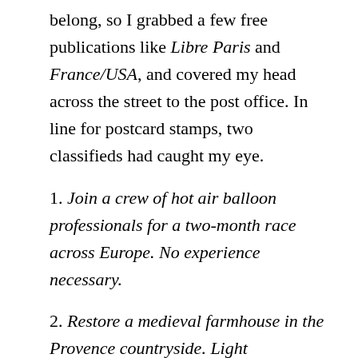belong, so I grabbed a few free publications like Libre Paris and France/USA, and covered my head across the street to the post office. In line for postcard stamps, two classifieds had caught my eye.
1. Join a crew of hot air balloon professionals for a two-month race across Europe. No experience necessary.
2. Restore a medieval farmhouse in the Provence countryside. Light construction/electrical experience preferred. Room and board.
My parents' postcard. Dear Mom and Dad,